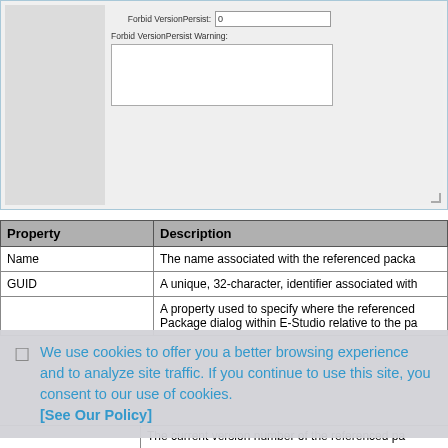[Figure (screenshot): UI dialog panel showing form fields: 'Forbid VersionPersist:' with input value '0', and 'Forbid VersionPersist Warning:' with a multi-line text area below it. Left panel is a grey sidebar. Bottom-right has a resize handle.]
| Property | Description |
| --- | --- |
| Name | The name associated with the referenced packa... |
| GUID | A unique, 32-character, identifier associated with... |
|  | A property used to specify where the referenced...
Package dialog within E-Studio relative to the pa... |
We use cookies to offer you a better browsing experience and to analyze site traffic. If you continue to use this site, you consent to our use of cookies. [See Our Policy]
The current version number of the referenced pa...